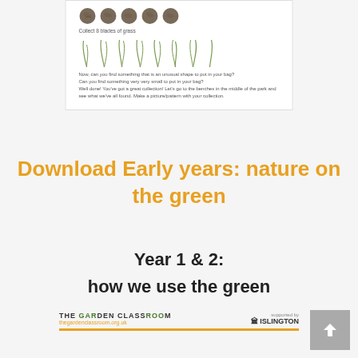[Figure (illustration): Document preview showing a nature activity worksheet with seed/pebble illustrations in a row, grass blade illustrations, text 'Collect 8 blades of grass', and instructions about finding unusual shapes and very small things, ending with instructions to go to benches in the park.]
Download Early years: nature on the green
Year 1 & 2:
how we use the green
[Figure (logo): The Garden Classroom logo with tagline thegardenclassroom.org.uk, supported by Islington borough logo, with an orange horizontal rule beneath.]